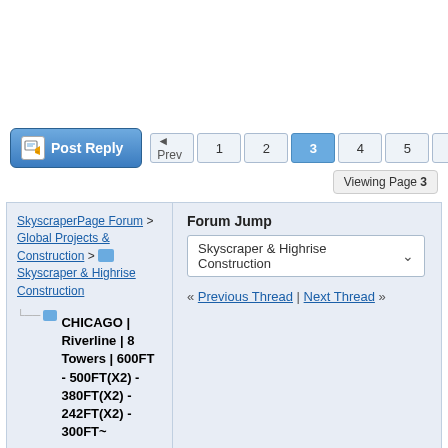Post Reply
◄ Prev  1  2  3  4  5  6  7  13  42  Viewing Page 3
SkyscraperPage Forum > Global Projects & Construction > Skyscraper & Highrise Construction
CHICAGO | Riverline | 8 Towers | 600FT - 500FT(X2) - 380FT(X2) - 242FT(X2) - 300FT~
Forum Jump
Skyscraper & Highrise Construction
« Previous Thread | Next Thread »
« Previous Thread | Next Thread »